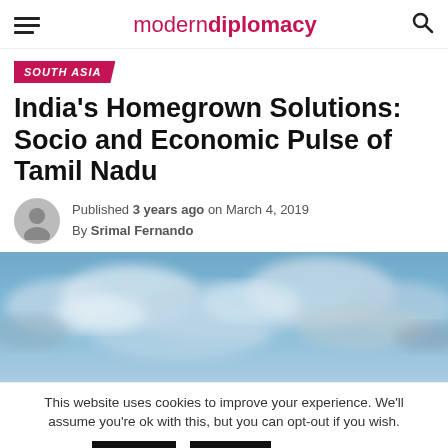modern diplomacy
SOUTH ASIA
India's Homegrown Solutions: Socio and Economic Pulse of Tamil Nadu
Published 3 years ago on March 4, 2019
By Srimal Fernando
[Figure (photo): Cloudy blue sky photograph used as article hero image]
This website uses cookies to improve your experience. We'll assume you're ok with this, but you can opt-out if you wish.
Accept  Reject  Read More